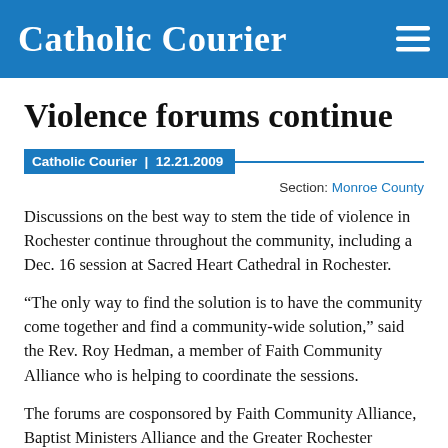Catholic Courier
Violence forums continue
Catholic Courier  |  12.21.2009
Section: Monroe County
Discussions on the best way to stem the tide of violence in Rochester continue throughout the community, including a Dec. 16 session at Sacred Heart Cathedral in Rochester.
“The only way to find the solution is to have the community come together and find a community-wide solution,” said the Rev. Roy Hedman, a member of Faith Community Alliance who is helping to coordinate the sessions.
The forums are cosponsored by Faith Community Alliance, Baptist Ministers Alliance and the Greater Rochester